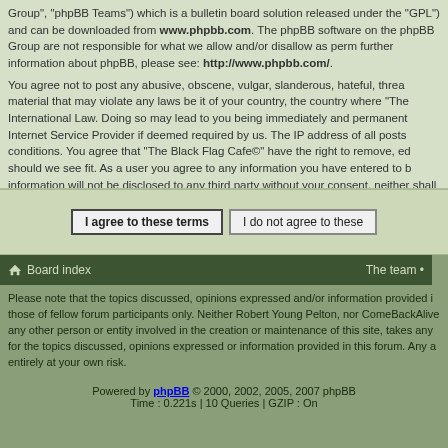Group", "phpBB Teams") which is a bulletin board solution released under the "GPL") and can be downloaded from www.phpbb.com. The phpBB software on the phpBB Group are not responsible for what we allow and/or disallow as perm further information about phpBB, please see: http://www.phpbb.com/.
You agree not to post any abusive, obscene, vulgar, slanderous, hateful, threa material that may violate any laws be it of your country, the country where "The International Law. Doing so may lead to you being immediately and permanent Internet Service Provider if deemed required by us. The IP address of all posts conditions. You agree that "The Black Flag Cafe©" have the right to remove, ed should we see fit. As a user you agree to any information you have entered to b information will not be disclosed to any third party without your consent, neither shall be held responsible for any hacking attempt that may lead to the data bei
[Figure (other): Two buttons: 'I agree to these terms' and 'I do not agree to these']
Board index   The team
Please note that the topics discussed, opinions expressed and/or information provided i those of fellow forum participants only. Neither Robert Young Pelton, nor ComeBackAlive any other person or entity involved in the creation or maintenance of this site, takes any for the topics discussed, opinions expressed or information provided in this forum. Any a entirely at your own risk.
Powered by phpBB © 2000, 2002, 2005, 2007 phpBB Time : 0.221s | 10 Queries | GZIP : On